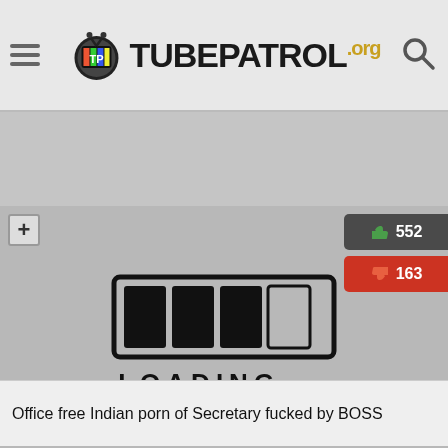[Figure (screenshot): TubePatrol.org website header with logo, hamburger menu, and search icon]
[Figure (screenshot): Video thumbnail showing a hand-drawn loading bar graphic with text LOADING... on gray background, with like count 552, dislike count 163, duration 28:46]
Office free Indian porn of Secretary fucked by BOSS
[Figure (screenshot): Bottom of page showing another video card with like count 670]